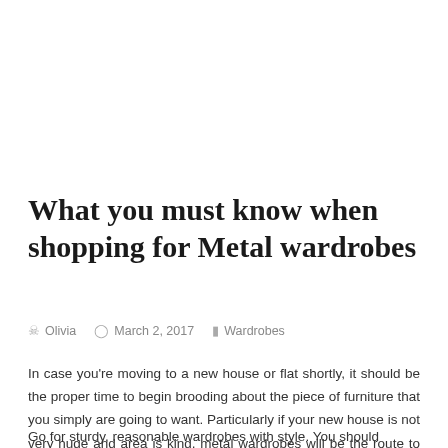What you must know when shopping for Metal wardrobes
Olivia   March 2, 2017   Wardrobes
In case you're moving to a new house or flat shortly, it should be the proper time to begin brooding about the piece of furniture that you simply are going to want. Particularly if your new house is not very huge and area is king, metal wardrobes will be the route to require.
Go for sturdy, reasonable wardrobes with style. You should